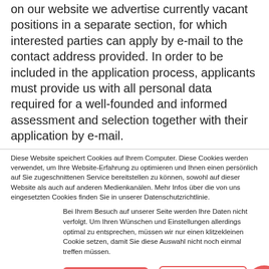on our website we advertise currently vacant positions in a separate section, for which interested parties can apply by e-mail to the contact address provided. In order to be included in the application process, applicants must provide us with all personal data required for a well-founded and informed assessment and selection together with their application by e-mail.
Diese Website speichert Cookies auf Ihrem Computer. Diese Cookies werden verwendet, um Ihre Website-Erfahrung zu optimieren und Ihnen einen persönlich auf Sie zugeschnittenen Service bereitstellen zu können, sowohl auf dieser Website als auch auf anderen Medienkanälen. Mehr Infos über die von uns eingesetzten Cookies finden Sie in unserer Datenschutzrichtlinie.
Bei Ihrem Besuch auf unserer Seite werden Ihre Daten nicht verfolgt. Um Ihren Wünschen und Einstellungen allerdings optimal zu entsprechen, müssen wir nur einen klitzekleinen Cookie setzen, damit Sie diese Auswahl nicht noch einmal treffen müssen.